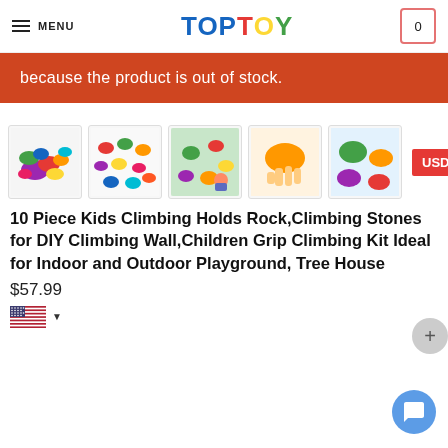MENU | TOP TOY | 0
because the product is out of stock.
[Figure (photo): Five product thumbnail images showing colorful rock climbing holds/stones for kids. Images show the climbing holds in various arrangements and in use.]
10 Piece Kids Climbing Holds Rock,Climbing Stones for DIY Climbing Wall,Children Grip Climbing Kit Ideal for Indoor and Outdoor Playground, Tree House
$57.99
[Figure (illustration): US flag icon with dropdown arrow]